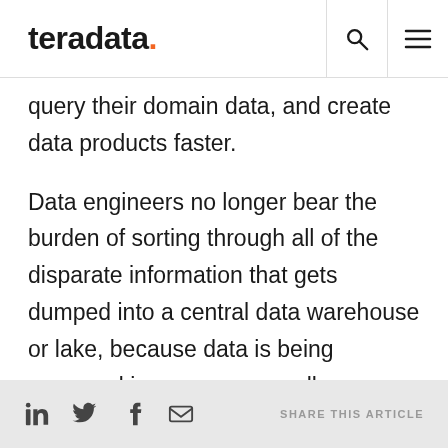teradata.
query their domain data, and create data products faster.
Data engineers no longer bear the burden of sorting through all of the disparate information that gets dumped into a central data warehouse or lake, because data is being managed in numerous smaller domains instead. As a result, everyone in the organization can more rapidly respond to change and scale their workloads as
SHARE THIS ARTICLE